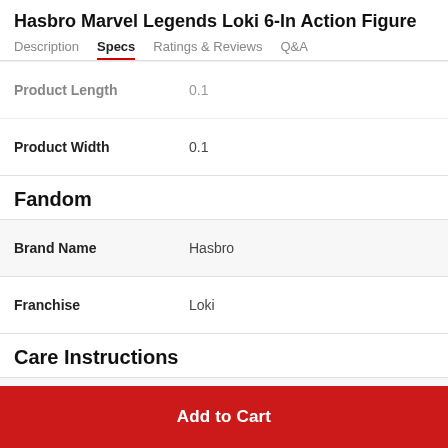Hasbro Marvel Legends Loki 6-In Action Figure
Description | Specs | Ratings & Reviews | Q&A
| Attribute | Value |
| --- | --- |
| Product Length | 0.1 |
| Product Width | 0.1 |
Fandom
| Attribute | Value |
| --- | --- |
| Brand Name | Hasbro |
| Franchise | Loki |
Care Instructions
| Attribute | Value |
| --- | --- |
| Drying care | N/A |
Add to Cart